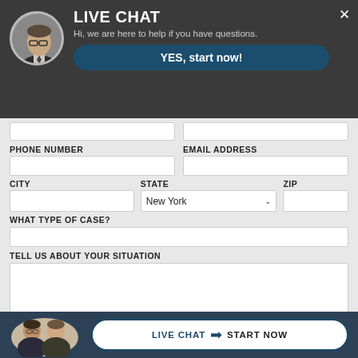[Figure (screenshot): Live chat popup header with avatar photo of a man in suit and glasses, dark gray background, white LIVE CHAT title, subtitle text, and a teal YES start now button with X close button]
LIVE CHAT
Hi, we are here to help if you have questions.
YES, start now!
PHONE NUMBER
EMAIL ADDRESS
CITY
STATE
ZIP
New York
WHAT TYPE OF CASE?
TELL US ABOUT YOUR SITUATION
[Figure (photo): Two men in suits at the bottom footer bar]
LIVE CHAT  START NOW